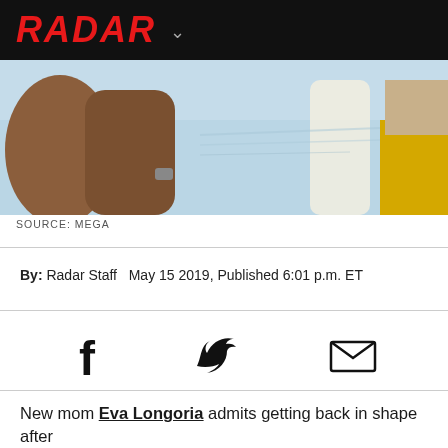RADAR
[Figure (photo): Photo of woman in yellow bikini being embraced on a beach, another person in yellow pants visible on the right, ocean in background]
SOURCE: MEGA
By: Radar Staff   May 15 2019, Published 6:01 p.m. ET
[Figure (infographic): Social media sharing icons: Facebook (f), Twitter (bird), Email (envelope)]
New mom Eva Longoria admits getting back in shape after